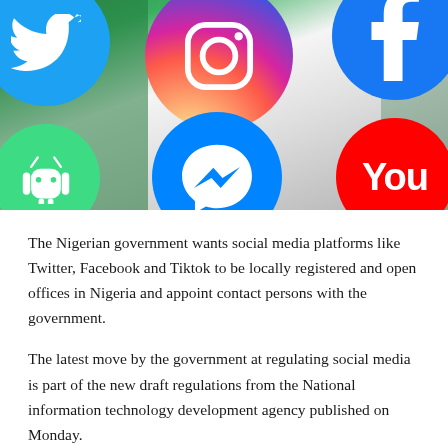[Figure (photo): Photo of social media platform logos (Twitter, Instagram, Facebook, Android, Messenger, YouTube) as circular icons overlaid on a Nigerian flag backdrop]
The Nigerian government wants social media platforms like Twitter, Facebook and Tiktok to be locally registered and open offices in Nigeria and appoint contact persons with the government.
The latest move by the government at regulating social media is part of the new draft regulations from the National information technology development agency published on Monday.